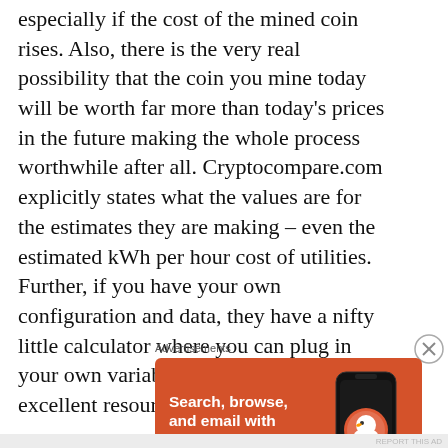especially if the cost of the mined coin rises. Also, there is the very real possibility that the coin you mine today will be worth far more than today's prices in the future making the whole process worthwhile after all. Cryptocompare.com explicitly states what the values are for the estimates they are making – even the estimated kWh per hour cost of utilities.  Further, if you have your own configuration and data, they have a nifty little calculator where you can plug in your own variables.  I find it to be an excellent resource
Advertisements
[Figure (infographic): DuckDuckGo advertisement banner with orange background. Text reads 'Search, browse, and email with more privacy.' with a white button 'All in One Free App' and a phone illustration with the DuckDuckGo logo.]